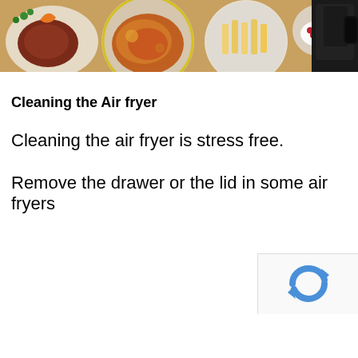[Figure (photo): Banner photo showing various foods including steak, grilled chicken, french fries, berries, and a black air fryer appliance on the right]
Cleaning the Air fryer
Cleaning the air fryer is stress free.
Remove the drawer or the lid in some air fryers
[Figure (logo): reCAPTCHA logo/widget partially visible in bottom right corner]